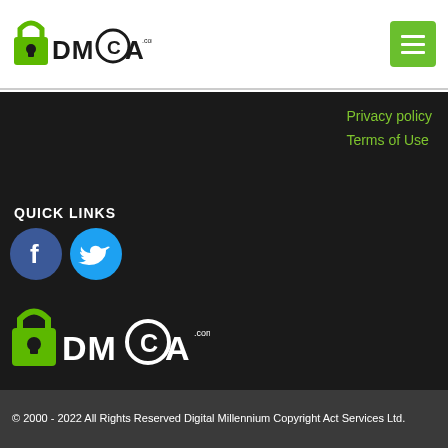[Figure (logo): DMCA.com logo with green padlock icon in the header]
[Figure (other): Green hamburger menu button]
Privacy policy
Terms of Use
QUICK LINKS
[Figure (other): Facebook and Twitter social media icon circles]
[Figure (logo): DMCA.com logo white text on dark background with green padlock]
© 2000 - 2022 All Rights Reserved Digital Millennium Copyright Act Services Ltd.